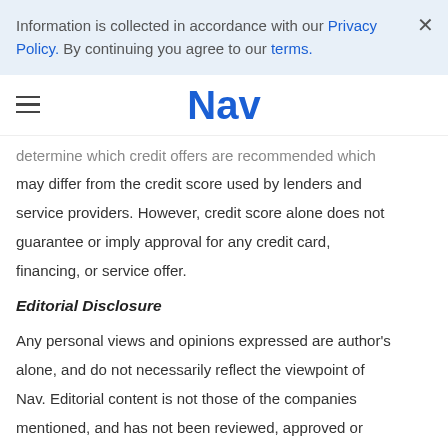Information is collected in accordance with our Privacy Policy. By continuing you agree to our terms.
Nav
determine which credit offers are recommended which may differ from the credit score used by lenders and service providers. However, credit score alone does not guarantee or imply approval for any credit card, financing, or service offer.
Editorial Disclosure
Any personal views and opinions expressed are author's alone, and do not necessarily reflect the viewpoint of Nav. Editorial content is not those of the companies mentioned, and has not been reviewed, approved or